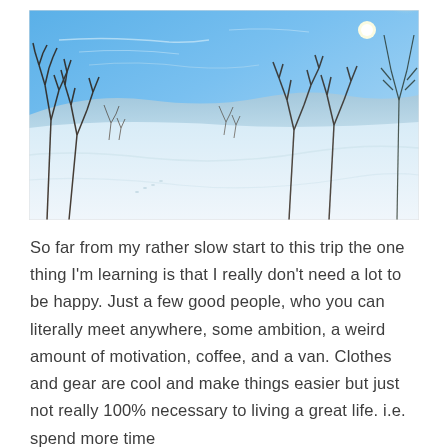[Figure (photo): Winter landscape photograph showing a snow-covered field with bare trees in the foreground, rolling hills in the background, and a bright blue sky with the sun visible in the upper right.]
So far from my rather slow start to this trip the one thing I'm learning is that I really don't need a lot to be happy. Just a few good people, who you can literally meet anywhere, some ambition, a weird amount of motivation, coffee, and a van. Clothes and gear are cool and make things easier but just not really 100% necessary to living a great life. i.e. spend more time